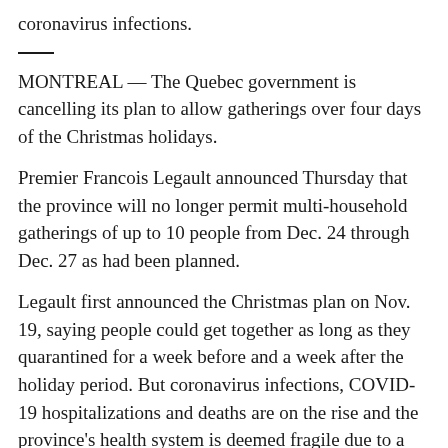coronavirus infections.
MONTREAL — The Quebec government is cancelling its plan to allow gatherings over four days of the Christmas holidays.
Premier Francois Legault announced Thursday that the province will no longer permit multi-household gatherings of up to 10 people from Dec. 24 through Dec. 27 as had been planned.
Legault first announced the Christmas plan on Nov. 19, saying people could get together as long as they quarantined for a week before and a week after the holiday period. But coronavirus infections, COVID-19 hospitalizations and deaths are on the rise and the province's health system is deemed fragile due to a lack of staffing.
Legault says it's not realistic to think the numbers will go